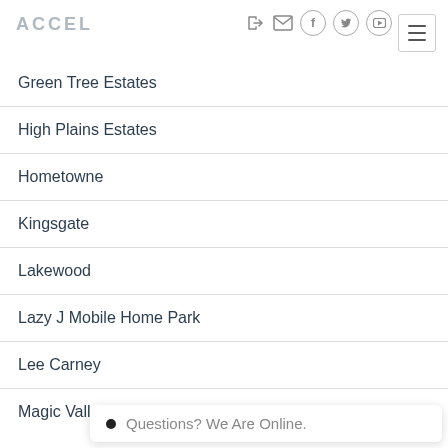ACCEL
Green Tree Estates
High Plains Estates
Hometowne
Kingsgate
Lakewood
Lazy J Mobile Home Park
Lee Carney
Magic Valley Ranch
Questions? We Are Online.